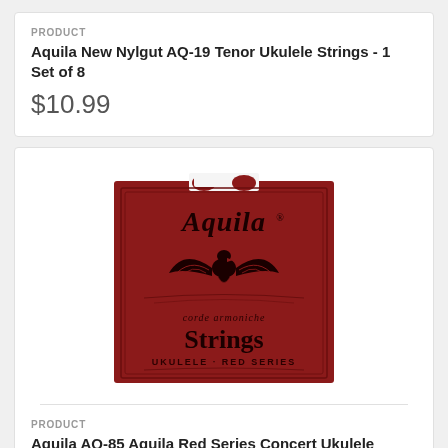PRODUCT
Aquila New Nylgut AQ-19 Tenor Ukulele Strings - 1 Set of 8
$10.99
[Figure (photo): Red Aquila Strings ukulele package - Aquila brand, Ukulele Red Series, Strings label with eagle logo]
PRODUCT
Aquila AQ-85 Aquila Red Series Concert Ukulele Strings High G Set of 4
$8.99